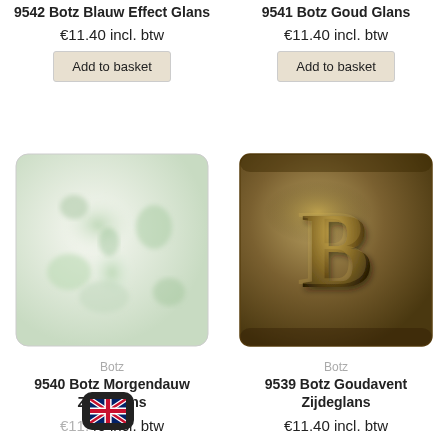9542 Botz Blauw Effect Glans
€11.40 incl. btw
Add to basket
9541 Botz Goud Glans
€11.40 incl. btw
Add to basket
[Figure (photo): White/green mottled ceramic glaze tile sample - Botz Morgendauw Zijdeglans]
[Figure (photo): Brown/bronze metallic ceramic glaze tile with embossed B letter - Botz Goudavent Zijdeglans]
Botz
9540 Botz Morgendauw Zijdeglans
€11.40 incl. btw
Botz
9539 Botz Goudavent Zijdeglans
€11.40 incl. btw